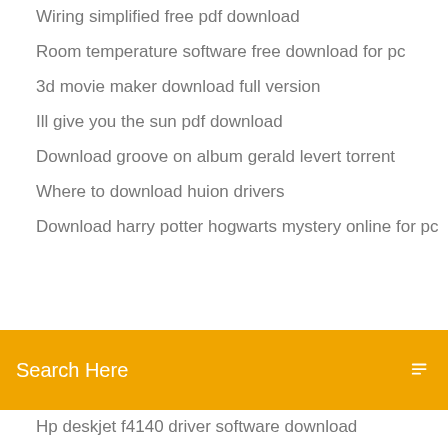Wiring simplified free pdf download
Room temperature software free download for pc
3d movie maker download full version
Ill give you the sun pdf download
Download groove on album gerald levert torrent
Where to download huion drivers
Download harry potter hogwarts mystery online for pc
Search Here
Hp deskjet f4140 driver software download
Download free paypal here app apk
Download video mp4 cuci tangan benar
Medal of honor 2010 torrent download
Minecraft pc full download
3d display pc download
Photos download as pdf from iphone to computer
Boob simulator download pc
Head first pmp pdf free download
Dead space 1 pc download full